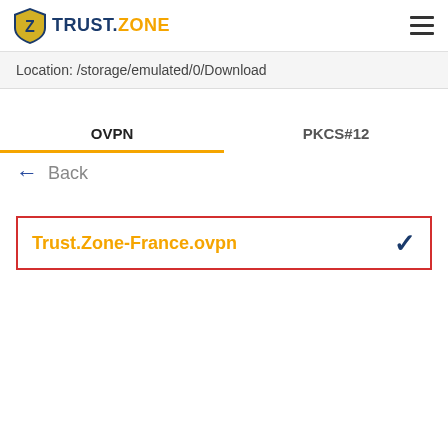[Figure (screenshot): Trust.Zone VPN logo with shield icon in blue/yellow, followed by TRUST.ZONE text where TRUST is dark blue and ZONE is orange]
≡ (hamburger menu icon)
Location: /storage/emulated/0/Download
OVPN
PKCS#12
← Back
Trust.Zone-France.ovpn ✓